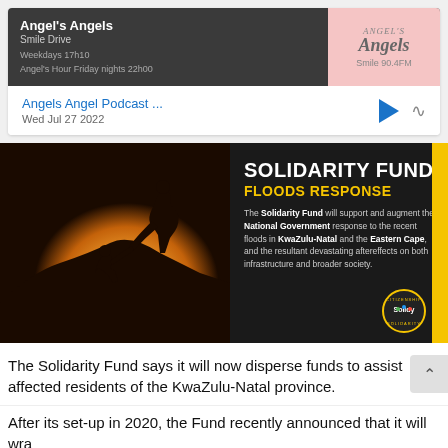[Figure (screenshot): Podcast card showing Angel's Angels Smile Drive show on Smile 90.4FM with episode 'Angels Angel Podcast ...' dated Wed Jul 27 2022, with play and share icons]
[Figure (infographic): Solidarity Fund Floods Response banner with silhouette image of two people on a hill, text describing the fund supporting National Government response to floods in KwaZulu-Natal and Eastern Cape]
The Solidarity Fund says it will now disperse funds to assist affected residents of the KwaZulu-Natal province.
After its set-up in 2020, the Fund recently announced that it will wra